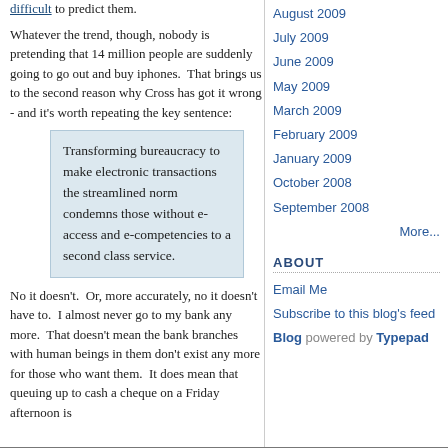difficult to predict them.
Whatever the trend, though, nobody is pretending that 14 million people are suddenly going to go out and buy iphones. That brings us to the second reason why Cross has got it wrong - and it's worth repeating the key sentence:
Transforming bureaucracy to make electronic transactions the streamlined norm condemns those without e-access and e-competencies to a second class service.
No it doesn't. Or, more accurately, no it doesn't have to. I almost never go to my bank any more. That doesn't mean the bank branches with human beings in them don't exist any more for those who want them. It does mean that queuing up to cash a cheque on a Friday afternoon is
August 2009
July 2009
June 2009
May 2009
March 2009
February 2009
January 2009
October 2008
September 2008
More...
ABOUT
Email Me
Subscribe to this blog's feed
Blog powered by Typepad